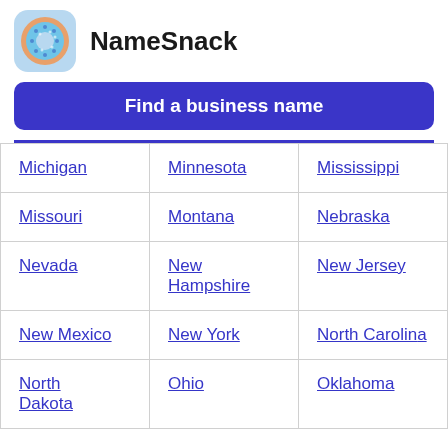NameSnack
Find a business name
| Michigan | Minnesota | Mississippi |
| Missouri | Montana | Nebraska |
| Nevada | New Hampshire | New Jersey |
| New Mexico | New York | North Carolina |
| North Dakota | Ohio | Oklahoma |